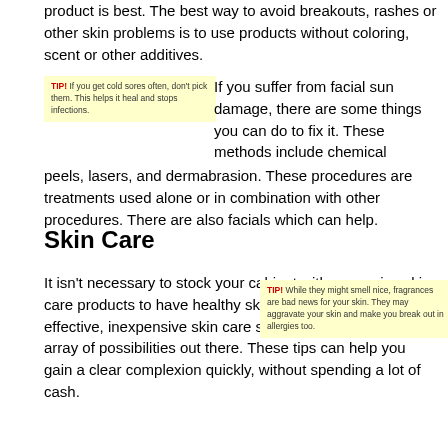product is best. The best way to avoid breakouts, rashes or other skin problems is to use products without coloring, scent or other additives.
[Figure (other): Yellow tip box: TIP! If you get cold sores often, don't pick them. This helps it heal and stops infections.]
If you suffer from facial sun damage, there are some things you can do to fix it. These methods include chemical peels, lasers, and dermabrasion. These procedures are treatments used alone or in combination with other procedures. There are also facials which can help.
Skin Care
It isn't necessary to stock your cabinet with expensive skin care products to have healthy skin. Everyone can find effective, inexpensive skin care solutions thanks to the vast array of possibilities out there. These tips can help you gain a clear complexion quickly, without spending a lot of cash.
[Figure (other): Yellow tip box: TIP! While they might smell nice, fragrances are bad news for your skin. They may aggravate your skin and make you break out in allergies too.]